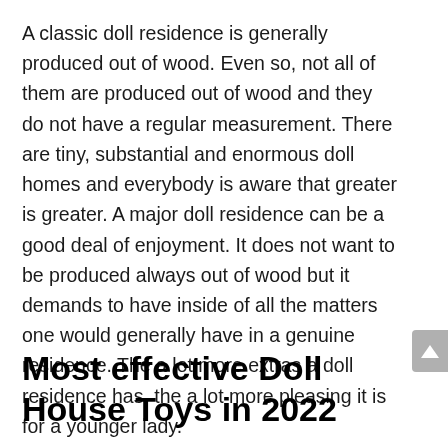A classic doll residence is generally produced out of wood. Even so, not all of them are produced out of wood and they do not have a regular measurement. There are tiny, substantial and enormous doll homes and everybody is aware that greater is greater. A major doll residence can be a good deal of enjoyment. It does not want to be produced always out of wood but it demands to have inside of all the matters one would generally have in a genuine residence. The a lot more extras a doll residence has, the a lot more pleasing it is for a younger lady.
Most effective Doll House Toys in 2022